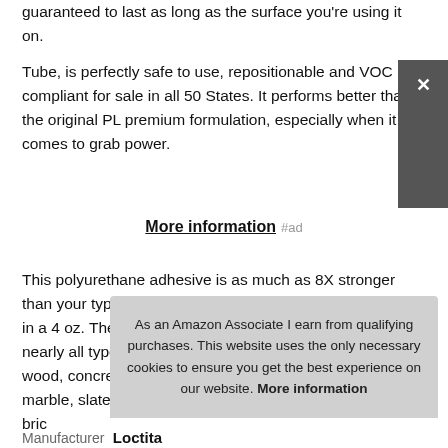guaranteed to last as long as the surface you're using it on.
Tube, is perfectly safe to use, repositionable and VOC compliant for sale in all 50 States. It performs better than the original PL premium formulation, especially when it comes to grab power.
More information #ad
This polyurethane adhesive is as much as 8X stronger than your typical construction adhesive. Adhesive comes in a 4 oz. The adhesive makes a great choice for bonding nearly all types of construction materials like wood, treated wood, concrete, hardwood, flooring, stone, masonry, marble, slate, bric
As an Amazon Associate I earn from qualifying purchases. This website uses the only necessary cookies to ensure you get the best experience on our website. More information
Manufacturer  Loctite